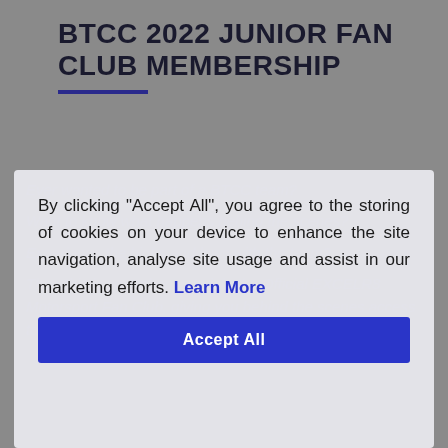BTCC 2022 JUNIOR FAN CLUB MEMBERSHIP
Ever wanted to be part of a BTCC team? Want to know what happens behind the scenes? Experience the highs and lows with the team? Then this is your chance to join the Official EXCELR8 Motorsport Fan Club, giving you behind the scenes access to the team, both on and off the track.
By clicking "Accept All", you agree to the storing of cookies on your device to enhance the site navigation, analyse site usage and assist in our marketing efforts. Learn More
team, both on and off the track.
In 2022 we have added some exciting new experiences this year alongside the team merchandise based on you our helpful...